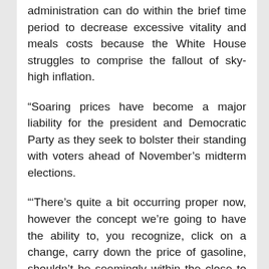administration can do within the brief time period to decrease excessive vitality and meals costs because the White House struggles to comprise the fallout of sky-high inflation.
“Soaring prices have become a major liability for the president and Democratic Party as they seek to bolster their standing with voters ahead of November’s midterm elections.
“‘There’s quite a bit occurring proper now, however the concept we’re going to have the ability to, you recognize, click on a change, carry down the price of gasoline, shouldn’t be seemingly within the close to time period, neither is it with regard to meals,’ Biden stated Wednesday.”